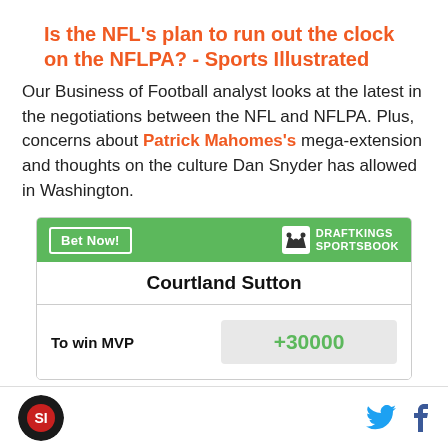Is the NFL's plan to run out the clock on the NFLPA? - Sports Illustrated
Our Business of Football analyst looks at the latest in the negotiations between the NFL and NFLPA. Plus, concerns about Patrick Mahomes's mega-extension and thoughts on the culture Dan Snyder has allowed in Washington.
[Figure (other): DraftKings Sportsbook betting widget showing Courtland Sutton with To win MVP odds of +30000]
Sports Illustrated logo, Twitter icon, Facebook icon